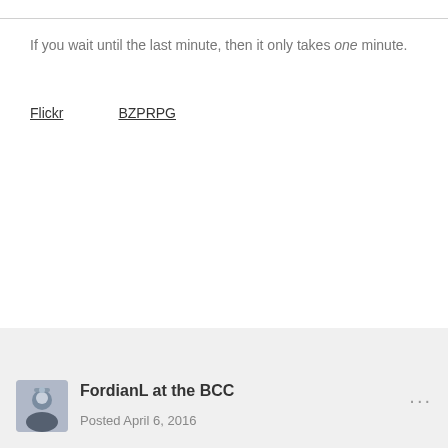If you wait until the last minute, then it only takes one minute.
Flickr    BZPRPG
FordianL at the BCC
Posted April 6, 2016